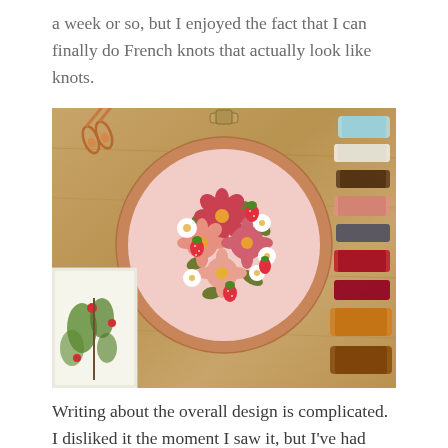a week or so, but I enjoyed the fact that I can finally do French knots that actually look like knots.
[Figure (photo): An embroidery hoop on a wooden table featuring a floral and strawberry design on pink fabric, surrounded by embroidery scissors, colorful thread skeins, and a botanical illustration card.]
Writing about the overall design is complicated. I disliked it the moment I saw it, but I've had friends say they find it